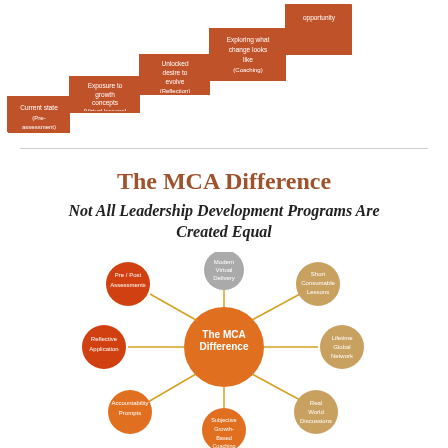[Figure (infographic): Staircase diagram showing learning progression steps: Current state (Pre-assessment), Exposure to growth concepts (Virtual lessons), Unlocked desire to evolve (Reflection), Exploring what change looks like (Coaching), and opportunity (implied final step). Each step is represented as an ascending stair with orange/brown arrow shapes.]
The MCA Difference
Not All Leadership Development Programs Are Created Equal
[Figure (infographic): Circular hub-and-spoke diagram centered on 'The MCA Difference' (orange circle). Surrounding nodes: Modern Virtual Delivery (gray), Short Consumable Lessons (tan/gold), Lifetime Global Network (tan/gold), Real World Discussions (tan/gold), Subjective Growth-Based Coaching (orange), Accountability Prompts (orange), Reflective Application (orange), Pre/Post Assessments (red-orange). Connected by gold/yellow lines.]